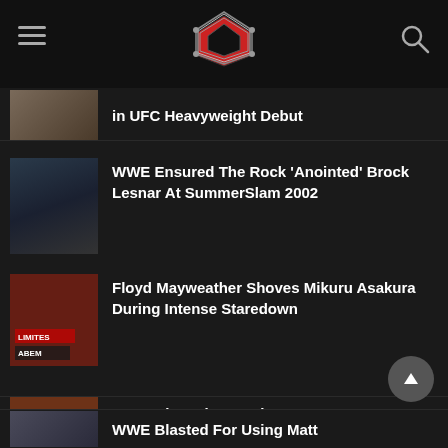Wrestling news website header with logo
in UFC Heavyweight Debut
WWE Ensured The Rock 'Anointed' Brock Lesnar At SummerSlam 2002
Cardi B Reveals Her Favorite WWE Entrance Music
Floyd Mayweather Shoves Mikuru Asakura During Intense Staredown
WWE Blasted For Using Matt